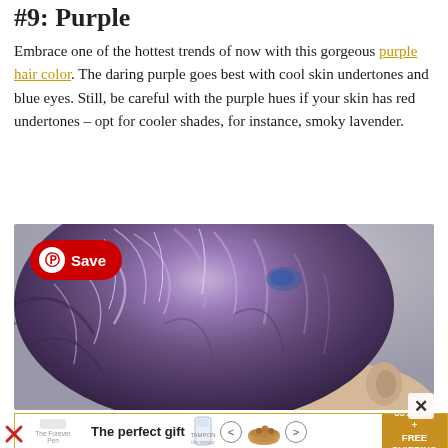#9: Purple
Embrace one of the hottest trends of now with this gorgeous purple hair color. The daring purple goes best with cool skin undertones and blue eyes. Still, be careful with the purple hues if your skin has red undertones – opt for cooler shades, for instance, smoky lavender.
[Figure (photo): Close-up photo of a person with short purple hair, with a red Pinterest Save button overlay in the top-left corner]
The perfect gift  35% OFF + FREE SHIPPING